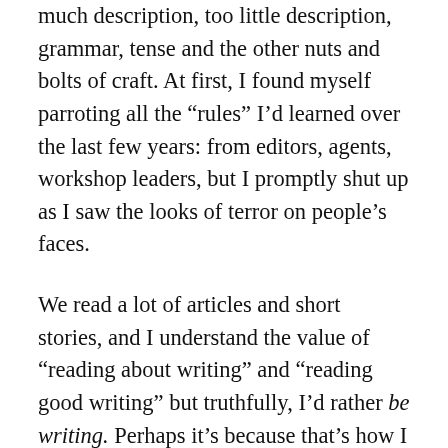much description, too little description, grammar, tense and the other nuts and bolts of craft. At first, I found myself parroting all the “rules” I’d learned over the last few years: from editors, agents, workshop leaders, but I promptly shut up as I saw the looks of terror on people’s faces.
We read a lot of articles and short stories, and I understand the value of “reading about writing” and “reading good writing” but truthfully, I’d rather be writing. Perhaps it’s because that’s how I view learning: learn-by-doing has always been my mantra as a teacher and it served me well in the sciences. My classroom was a big, messy laboratory where we blew things up (before all that became